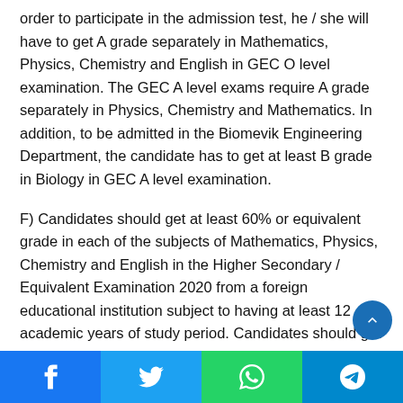order to participate in the admission test, he / she will have to get A grade separately in Mathematics, Physics, Chemistry and English in GEC O level examination. The GEC A level exams require A grade separately in Physics, Chemistry and Mathematics. In addition, to be admitted in the Biomevik Engineering Department, the candidate has to get at least B grade in Biology in GEC A level examination.
F) Candidates should get at least 60% or equivalent grade in each of the subjects of Mathematics, Physics, Chemistry and English in the Higher Secondary / Equivalent Examination 2020 from a foreign educational institution subject to having at least 12 academic years of study period. Candidates should get an average of at least 60% or equivalent grade in the secondary / equivalent examination